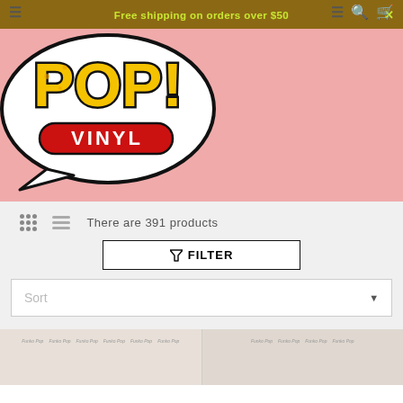Free shipping on orders over $50
[Figure (logo): Funko POP! Vinyl logo - speech bubble shape with 'POP!' in large yellow letters and 'VINYL' in a red rounded rectangle banner]
There are 391 products
FILTER
Sort